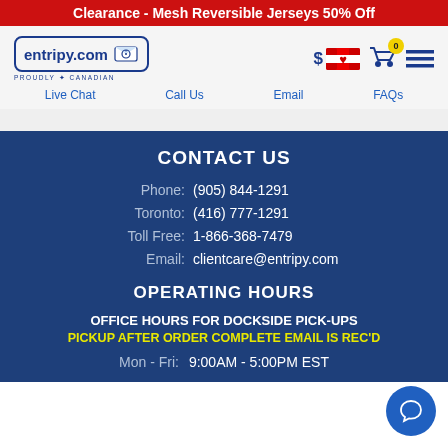Clearance - Mesh Reversible Jerseys 50% Off
[Figure (screenshot): entripy.com website navigation bar with logo, Canadian flag price selector, shopping cart with 0 badge, and hamburger menu icon]
Live Chat   Call Us   Email   FAQs
CONTACT US
Phone:  (905) 844-1291
Toronto:  (416) 777-1291
Toll Free:  1-866-368-7479
Email:  clientcare@entripy.com
OPERATING HOURS
OFFICE HOURS FOR DOCKSIDE PICK-UPS
PICKUP AFTER ORDER COMPLETE EMAIL IS REC'D
Mon - Fri:  9:00AM - 5:00PM EST